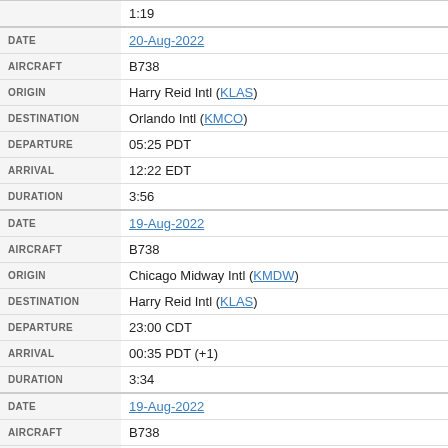| DATE | 20-Aug-2022 |
| AIRCRAFT | B738 |
| ORIGIN | Harry Reid Intl (KLAS) |
| DESTINATION | Orlando Intl (KMCO) |
| DEPARTURE | 05:25 PDT |
| ARRIVAL | 12:22 EDT |
| DURATION | 3:56 |
| DATE | 19-Aug-2022 |
| AIRCRAFT | B738 |
| ORIGIN | Chicago Midway Intl (KMDW) |
| DESTINATION | Harry Reid Intl (KLAS) |
| DEPARTURE | 23:00 CDT |
| ARRIVAL | 00:35 PDT (+1) |
| DURATION | 3:34 |
| DATE | 19-Aug-2022 |
| AIRCRAFT | B738 |
| ORIGIN | Muhammad Ali Intl (KSDF) |
| DESTINATION | Chicago Midway Intl (KMDW) |
| DEPARTURE | 21:23 EDT |
| ARRIVAL | 21:11 CDT |